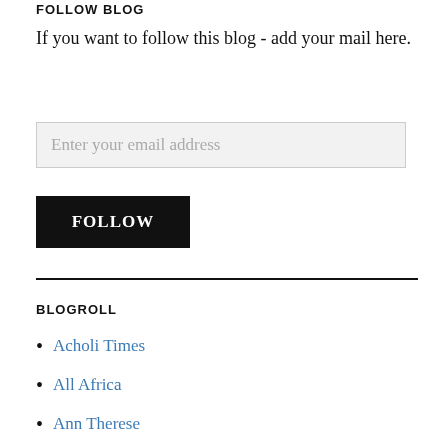FOLLOW BLOG
If you want to follow this blog - add your mail here.
Enter your email address
FOLLOW
BLOGROLL
Acholi Times
All Africa
Ann Therese